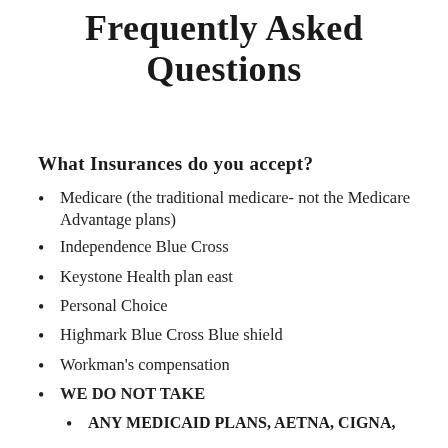Frequently Asked Questions
What Insurances do you accept?
Medicare (the traditional medicare- not the Medicare Advantage plans)
Independence Blue Cross
Keystone Health plan east
Personal Choice
Highmark Blue Cross Blue shield
Workman's compensation
WE DO NOT TAKE
ANY MEDICAID PLANS, AETNA, CIGNA,